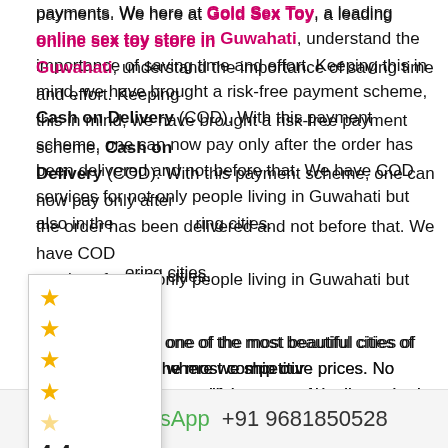payments. We here at Gold Sex Toy, a leading online sex toy store in Guwahati, understand the importance of saving time and effort. Keeping this in mind, we have brought a risk-free payment scheme, Cash on Delivery (COD). With this payment scheme, one can now pay only after the order has been delivered and not before that. We have COD services for not only people living in Guwahati but also in the neighboring cities.
Guwahati is one of the most beautiful cities of India where we ship our products at the most competitive prices. No matter at which corner of the city you are, we will get your order dispatched at the exact address you specify while placing the order.
We can deliver products to Dispur, the capital city of Assam, where you do not need to pick up your product as per your given location. If you wish, you can even provide a landmark so that it becomes convenient for us to locate and ship your order.
If you are anywhere in Agartala, we will also take up your order and get it delivered at your doorstep without any delay.
Aizawl is another location where we also take orders and deliver them
WhatsApp  +91 9681850528